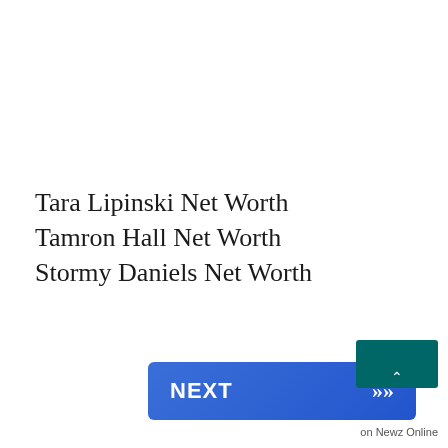Tara Lipinski Net Worth
Tamron Hall Net Worth
Stormy Daniels Net Worth
[Figure (other): NEXT button with double chevron arrow in blue gradient, navigation element]
[Figure (other): Teal/dark green rectangular widget with upward arrow, partially visible at bottom right]
on Newz Online